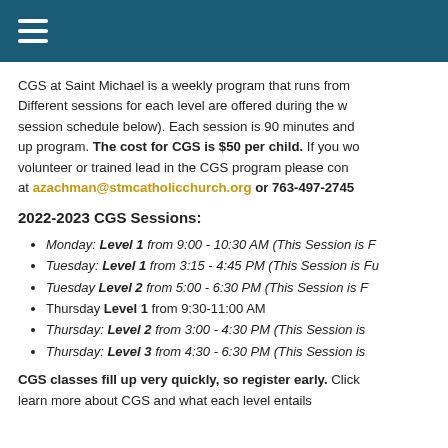[Navigation header with hamburger menu]
CGS at Saint Michael is a weekly program that runs from... Different sessions for each level are offered during the w... session schedule below). Each session is 90 minutes and... up program. The cost for CGS is $50 per child. If you wo... volunteer or trained lead in the CGS program please con... at azachman@stmcatholicchurch.org or 763-497-2745
2022-2023 CGS Sessions:
Monday: Level 1 from 9:00 - 10:30 AM (This Session is F...
Tuesday: Level 1 from 3:15 - 4:45 PM (This Session is Fu...
Tuesday Level 2 from 5:00 - 6:30 PM (This Session is F...
Thursday Level 1 from 9:30-11:00 AM
Thursday: Level 2 from 3:00 - 4:30 PM (This Session is...
Thursday: Level 3 from 4:30 - 6:30 PM (This Session is...
CGS classes fill up very quickly, so register early. Click... learn more about CGS and what each level entails...